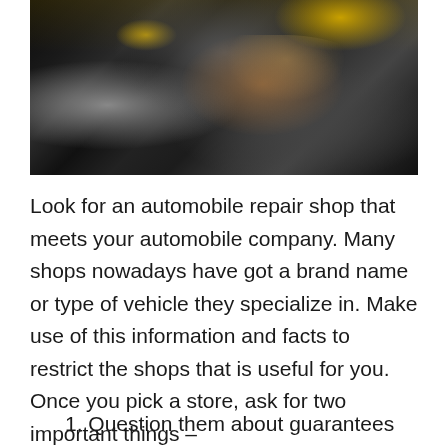[Figure (photo): Close-up photograph of a mechanic's hands working on a car engine, with dark mechanical components and a yellow cap visible in the upper right]
Look for an automobile repair shop that meets your automobile company. Many shops nowadays have got a brand name or type of vehicle they specialize in. Make use of this information and facts to restrict the shops that is useful for you. Once you pick a store, ask for two important things –
1. Question them about guarantees and